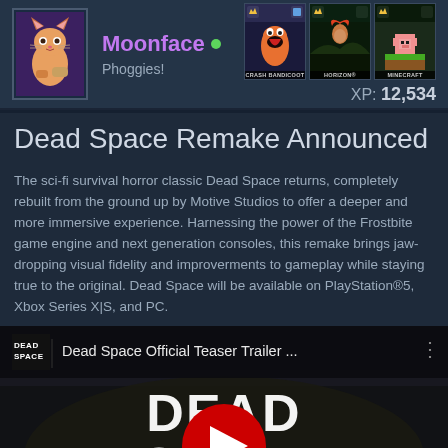Moonface • Phoggies! — XP: 12,534
Dead Space Remake Announced
The sci-fi survival horror classic Dead Space returns, completely rebuilt from the ground up by Motive Studios to offer a deeper and more immersive experience. Harnessing the power of the Frostbite game engine and next generation consoles, this remake brings jaw-dropping visual fidelity and improverments to gameplay while staying true to the original. Dead Space will be available on PlayStation®5, Xbox Series X|S, and PC.
[Figure (screenshot): YouTube embedded video thumbnail for 'Dead Space Official Teaser Trailer ...' showing Dead Space logo in white text, red YouTube play button, and 'OFFICIAL TEASER' text at the bottom on a dark background.]